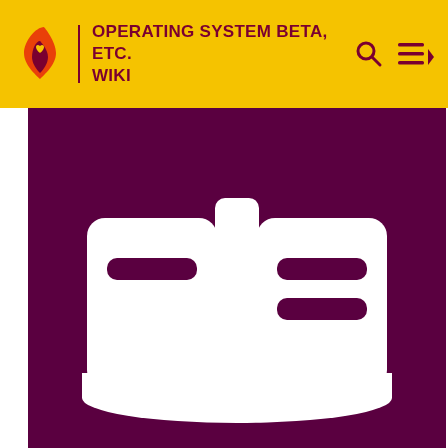OPERATING SYSTEM BETA, ETC. WIKI
[Figure (illustration): Dark magenta/purple background with a white open-book / wiki icon made of two document shapes with horizontal lines]
Cookies help us deliver our services. By using our services, you agree to our use of cookies.
READ MORE